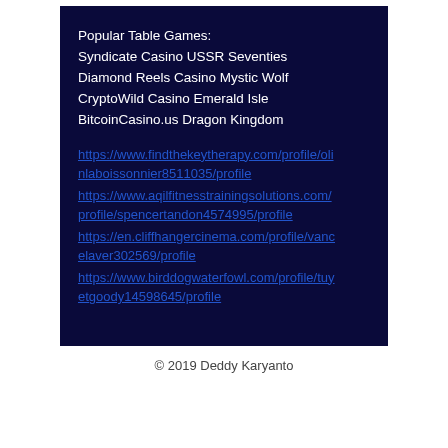Popular Table Games:
Syndicate Casino USSR Seventies
Diamond Reels Casino Mystic Wolf
CryptoWild Casino Emerald Isle
BitcoinCasino.us Dragon Kingdom
https://www.findthekeytherapy.com/profile/olinlaboissonnier8511035/profile
https://www.aqilfitnesstrainingsolutions.com/profile/spencertandon4574995/profile
https://en.cliffhangercinema.com/profile/vancelaver302569/profile
https://www.birddogwaterfowl.com/profile/tuyetgoody14598645/profile
© 2019 Deddy Karyanto